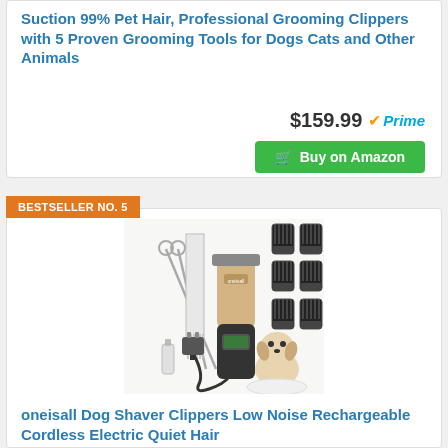Suction 99% Pet Hair, Professional Grooming Clippers with 5 Proven Grooming Tools for Dogs Cats and Other Animals
$159.99
Buy on Amazon
BESTSELLER NO. 5
[Figure (photo): Product photo of oneisall dog grooming clipper kit with cordless electric clipper, scissors, comb attachments, charging cable, oil bottle, and a small dog]
oneisall Dog Shaver Clippers Low Noise Rechargeable Cordless Electric Quiet Hair